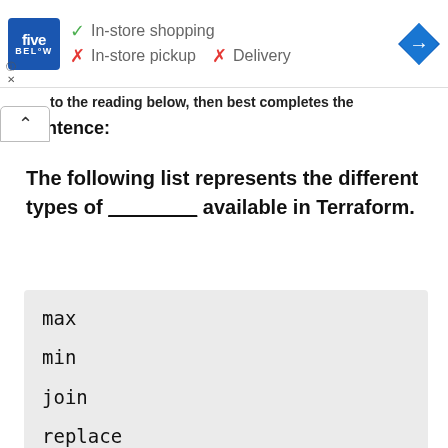[Figure (other): Five Below store ad banner showing: checkmark In-store shopping, X In-store pickup, X Delivery, with navigation arrow icon]
...to the reading below, then best completes the sentence:
The following list represents the different types of ________ available in Terraform.
max
min
join
replace
list
length
range